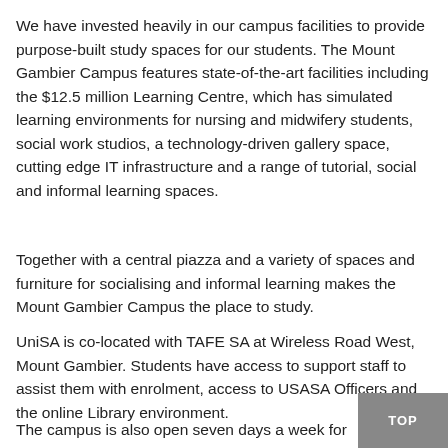We have invested heavily in our campus facilities to provide purpose-built study spaces for our students. The Mount Gambier Campus features state-of-the-art facilities including the $12.5 million Learning Centre, which has simulated learning environments for nursing and midwifery students, social work studios, a technology-driven gallery space, cutting edge IT infrastructure and a range of tutorial, social and informal learning spaces.
Together with a central piazza and a variety of spaces and furniture for socialising and informal learning makes the Mount Gambier Campus the place to study.
UniSA is co-located with TAFE SA at Wireless Road West, Mount Gambier. Students have access to support staff to assist them with enrolment, access to USASA Officers and the online Library environment.
The campus is also open seven days a week for student access.